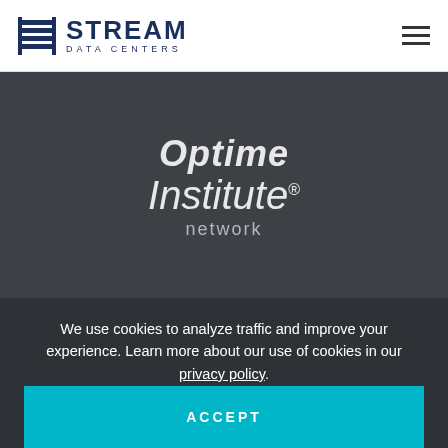STREAM DATA CENTERS
[Figure (logo): Uptime Institute network logo — stylized italic text reading 'Optune Institute® network' in white on dark background]
[Figure (logo): Infrastructure Masons Foundation Partner logo — white 'M' glyph with text 'Infrastructure Masons FOUNDATION PARTNER' in white on dark background]
We use cookies to analyze traffic and improve your experience. Learn more about our use of cookies in our privacy policy.
ACCEPT